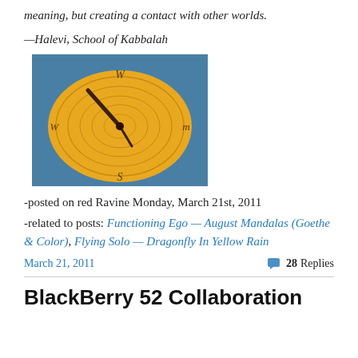meaning, but creating a contact with other worlds.
—Halevi, School of Kabbalah
[Figure (photo): A painted compass rose or clock-like artwork with yellow/orange circular design and a dark needle/hand, with blue background.]
-posted on red Ravine Monday, March 21st, 2011
-related to posts: Functioning Ego — August Mandalas (Goethe & Color), Flying Solo — Dragonfly In Yellow Rain
March 21, 2011
28 Replies
BlackBerry 52 Collaboration